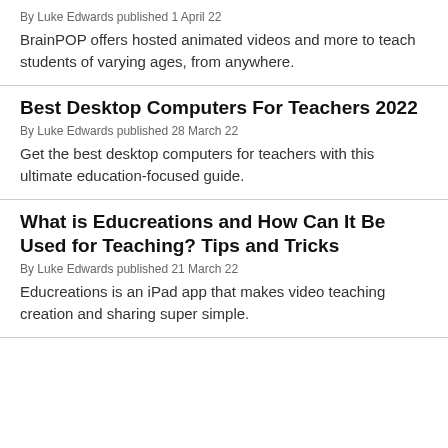By Luke Edwards published 1 April 22
BrainPOP offers hosted animated videos and more to teach students of varying ages, from anywhere.
Best Desktop Computers For Teachers 2022
By Luke Edwards published 28 March 22
Get the best desktop computers for teachers with this ultimate education-focused guide.
What is Educreations and How Can It Be Used for Teaching? Tips and Tricks
By Luke Edwards published 21 March 22
Educreations is an iPad app that makes video teaching creation and sharing super simple.